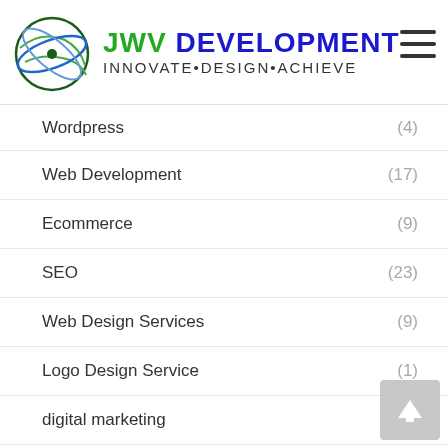[Figure (logo): JWV Development logo with globe icon, text 'JWV DEVELOPMENT' in blue/green and 'INNOVATE•DESIGN•ACHIEVE' subtitle]
Wordpress (4)
Web Development (17)
Ecommerce (9)
SEO (23)
Web Design Services (9)
Logo Design Service (1)
digital marketing (1)
blog (84)
infographic (1)